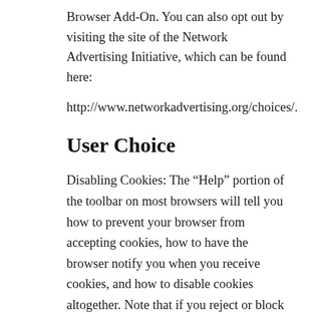Browser Add-On. You can also opt out by visiting the site of the Network Advertising Initiative, which can be found here:
http://www.networkadvertising.org/choices/.
User Choice
Disabling Cookies: The “Help” portion of the toolbar on most browsers will tell you how to prevent your browser from accepting cookies, how to have the browser notify you when you receive cookies, and how to disable cookies altogether. Note that if you reject or block cookies, it may affect your ability to enjoy the full functionality and experience of our Site.
Opt out
We, along with our third party service providers, may